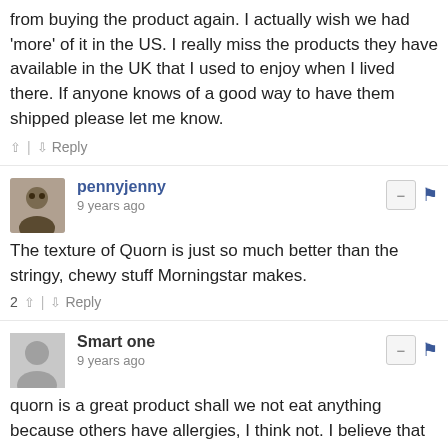from buying the product again. I actually wish we had 'more' of it in the US. I really miss the products they have available in the UK that I used to enjoy when I lived there. If anyone knows of a good way to have them shipped please let me know.
↑ | ↓  Reply
pennyjenny
9 years ago
The texture of Quorn is just so much better than the stringy, chewy stuff Morningstar makes.
2 ↑ | ↓  Reply
Smart one
9 years ago
quorn is a great product shall we not eat anything because others have allergies, I think not. I believe that Nestles should not get their hands on this company, because they will ruin it
6 ↑ | ↓  Reply
REM
10 years ago
Yes--people have allergies! Don't ruin it for those of us who don't! It is one of the best vegetarian meat substitutes we